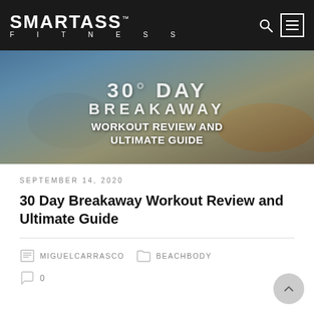SMARTASS™ FITNESS
[Figure (photo): Hero banner image showing runners outdoors with overlaid text: 30 DAY BREAKAWAY WORKOUT REVIEW AND ULTIMATE GUIDE]
SEPTEMBER 14, 2020
30 Day Breakaway Workout Review and Ultimate Guide
MIGUELCARRASCO   BEACHBODY
0